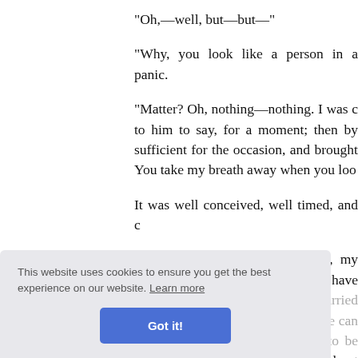"Oh,—well, but—but—"
"Why, you look like a person in a panic.
"Matter? Oh, nothing—nothing. I was c to him to say, for a moment; then by sufficient for the occasion, and brought You take my breath away when you loo
It was well conceived, well timed, and c
"Let me see. Where was I? Yes, my dreadful things on the wall. You have of are not modeins, but he has carried them back a there, is doing what he can to be the collection is supposed to be the young that it's a shoemaker, and not Lord Ber
"Are you sure?"